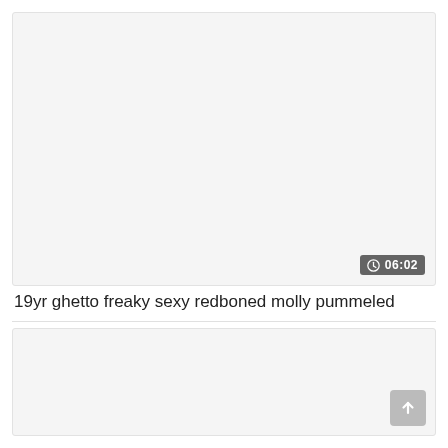[Figure (screenshot): Video thumbnail placeholder area, light gray background]
06:02
19yr ghetto freaky sexy redboned molly pummeled
[Figure (screenshot): Second video thumbnail placeholder area, light gray background]